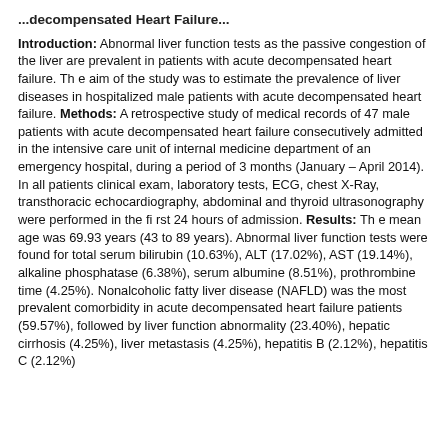...decompensated Heart Failure...
Introduction: Abnormal liver function tests as the passive congestion of the liver are prevalent in patients with acute decompensated heart failure. Th e aim of the study was to estimate the prevalence of liver diseases in hospitalized male patients with acute decompensated heart failure. Methods: A retrospective study of medical records of 47 male patients with acute decompensated heart failure consecutively admitted in the intensive care unit of internal medicine department of an emergency hospital, during a period of 3 months (January – April 2014). In all patients clinical exam, laboratory tests, ECG, chest X-Ray, transthoracic echocardiography, abdominal and thyroid ultrasonography were performed in the fi rst 24 hours of admission. Results: Th e mean age was 69.93 years (43 to 89 years). Abnormal liver function tests were found for total serum bilirubin (10.63%), ALT (17.02%), AST (19.14%), alkaline phosphatase (6.38%), serum albumine (8.51%), prothrombine time (4.25%). Nonalcoholic fatty liver disease (NAFLD) was the most prevalent comorbidity in acute decompensated heart failure patients (59.57%), followed by liver function abnormality (23.40%), hepatic cirrhosis (4.25%), liver metastasis (4.25%), hepatitis B (2.12%), hepatitis C (2.12%)